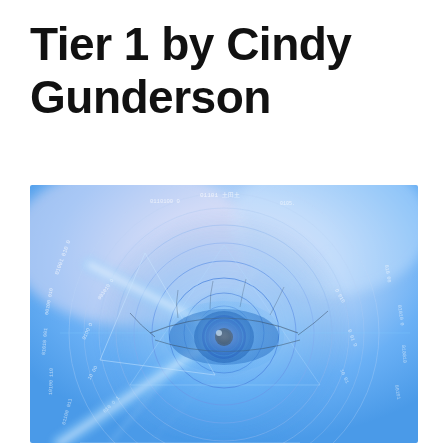Tier 1 by Cindy Gunderson
[Figure (illustration): A surreal digital illustration of a close-up human eye overlaid with circular blue glowing rings, binary code text patterns, geometric shapes (triangles and lines), set against a soft purple-white to blue gradient background. The image has a sci-fi/AI aesthetic with concentric circular HUD-like overlays around the eye.]